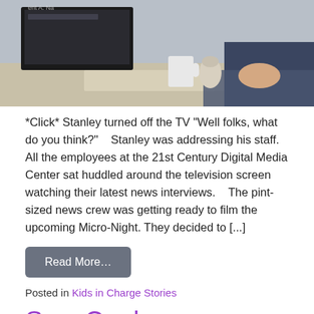[Figure (photo): Person working at a computer desk, top portion of image visible]
*Click* Stanley turned off the TV "Well folks, what do you think?"   Stanley was addressing his staff. All the employees at the 21st Century Digital Media Center sat huddled around the television screen watching their latest news interviews.   The pint-sized news crew was getting ready to film the upcoming Micro-Night. They decided to [...]
Read More...
Posted in Kids in Charge Stories
Sew Cool
[Figure (photo): Colorful drawn emoji/sticker designs on paper including smiley face, star, and other shapes]